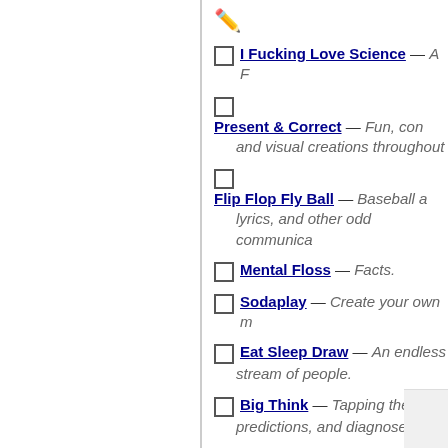[Figure (illustration): Pencil/writing emoji icon]
I Fucking Love Science — A F...
Present & Correct — Fun, con... and visual creations throughout...
Flip Flop Fly Ball — Baseball a... lyrics, and other odd communica...
Mental Floss — Facts.
Sodaplay — Create your own m...
Eat Sleep Draw — An endless stream of people.
Big Think — Tapping the brai... predictions, and diagnoses.
[Figure (logo): Big Think logo showing 'big' in orange text]